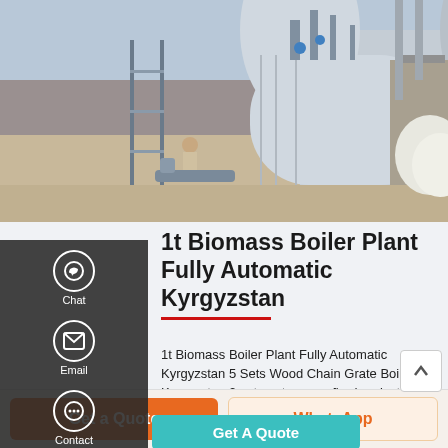[Figure (photo): Industrial boiler installation site; a large cylindrical boiler being installed outdoors with workers and scaffolding visible.]
1t Biomass Boiler Plant Fully Automatic Kyrgyzstan
1t Biomass Boiler Plant Fully Automatic Kyrgyzstan 5 Sets Wood Chain Grate Boiler Kyrgyzstan 2 sets nature gas fired project in indones 5tons fired delivery to nigeria Industrial Autoclave industrial manufacturer in fired fired Coal chain grate CFB power boilerWith 70 year experience Zozen is a leading steam and hot water manufacturer
Get A Quote
Get a Quote
WhatsApp